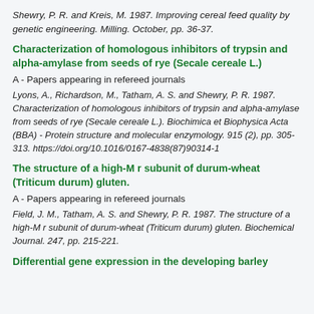Shewry, P. R. and Kreis, M. 1987. Improving cereal feed quality by genetic engineering. Milling. October, pp. 36-37.
Characterization of homologous inhibitors of trypsin and alpha-amylase from seeds of rye (Secale cereale L.)
A - Papers appearing in refereed journals
Lyons, A., Richardson, M., Tatham, A. S. and Shewry, P. R. 1987. Characterization of homologous inhibitors of trypsin and alpha-amylase from seeds of rye (Secale cereale L.). Biochimica et Biophysica Acta (BBA) - Protein structure and molecular enzymology. 915 (2), pp. 305-313. https://doi.org/10.1016/0167-4838(87)90314-1
The structure of a high-M r subunit of durum-wheat (Triticum durum) gluten.
A - Papers appearing in refereed journals
Field, J. M., Tatham, A. S. and Shewry, P. R. 1987. The structure of a high-M r subunit of durum-wheat (Triticum durum) gluten. Biochemical Journal. 247, pp. 215-221.
Differential gene expression in the developing barley